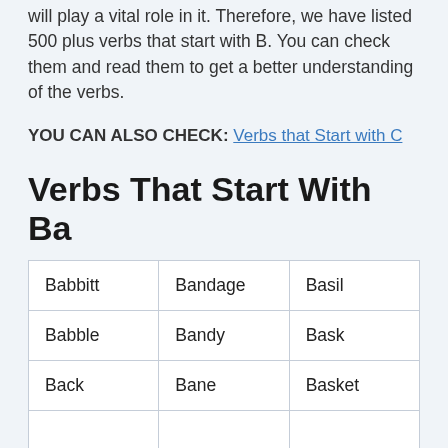will play a vital role in it. Therefore, we have listed 500 plus verbs that start with B. You can check them and read them to get a better understanding of the verbs.
YOU CAN ALSO CHECK: Verbs that Start with C
Verbs That Start With Ba
| Babbitt | Bandage | Basil |
| Babble | Bandy | Bask |
| Back | Bane | Basket |